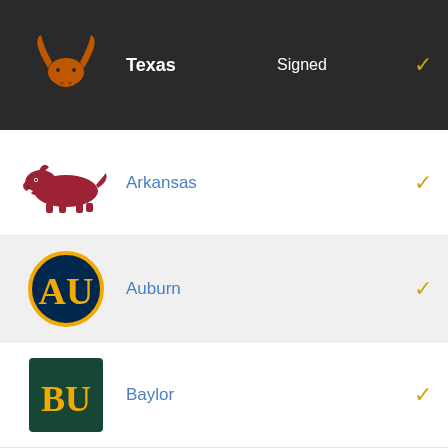| Logo | School | Signed | Check |
| --- | --- | --- | --- |
| Texas logo | Texas | Signed | ✓ |
| Arkansas logo | Arkansas |  | ✓ |
| Auburn logo | Auburn |  | ✓ |
| Baylor logo | Baylor |  | ✓ |
| Colorado logo | Colorado |  | ✓ |
| TCU logo | TCU |  | ✓ |
| Texas A&M logo | Texas A&M |  | ✓ |